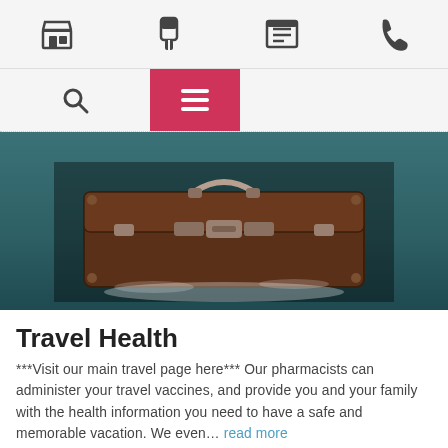Navigation bar with store, pharmacy, news, and phone icons
Search and hamburger menu navigation
[Figure (photo): A vintage brown suitcase on a teal/blue background, partially covered with snow or white powder, with dark overlay]
Travel Health
***Visit our main travel page here*** Our pharmacists can administer your travel vaccines, and provide you and your family with the health information you need to have a safe and memorable vacation. We even… read more
[Figure (photo): Bottom strip showing partial image with dark and red/maroon tones — partial view of a person in red/maroon clothing]